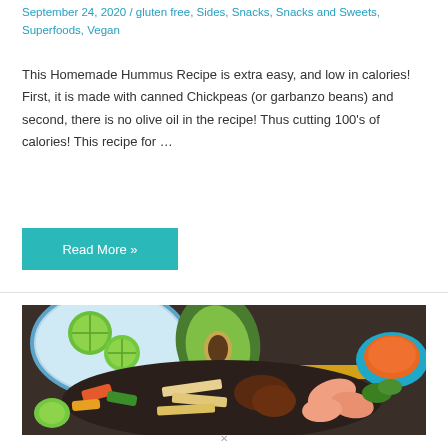September 24, 2020 / gluten free, Sides, Snacks, Snacks and Sweets, Superfoods, Vegan
This Homemade Hummus Recipe is extra easy, and low in calories! First, it is made with canned Chickpeas (or garbanzo beans) and second, there is no olive oil in the recipe! Thus cutting 100's of calories! This recipe for …
Read More »
[Figure (photo): Overhead shot of Mexican food spread including a blue plate with lime wedges, halved avocado, skillet with mixed fajita ingredients (peppers, chicken, steak, shrimp, tortillas), yellow tray, and a bowl of orange salsa in a blue dish.]